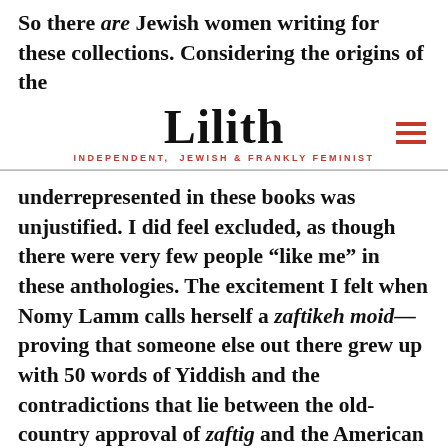So there are Jewish women writing for these collections. Considering the origins of the
Lilith — INDEPENDENT, JEWISH & FRANKLY FEMINIST
underrepresented in these books was unjustified. I did feel excluded, as though there were very few people “like me” in these anthologies. The excitement I felt when Nomy Lamm calls herself a zaftikeh moid—proving that someone else out there grew up with 50 words of Yiddish and the contradictions that lie between the old-country approval of zaftig and the American stigma of fat—underscored that. How many Jewish women, writing on specifically Jewish topics, was it